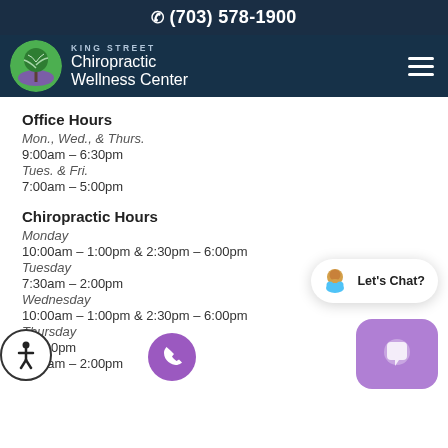(703) 578-1900
[Figure (logo): King Street Chiropractic Wellness Center logo with green tree circle icon and white text on dark navy background]
Office Hours
Mon., Wed., & Thurs.
9:00am – 6:30pm
Tues. & Fri.
7:00am – 5:00pm
Chiropractic Hours
Monday
10:00am – 1:00pm & 2:30pm – 6:00pm
Tuesday
7:30am – 2:00pm
Wednesday
10:00am – 1:00pm & 2:30pm – 6:00pm
Thursday
– 6:00pm
7:30am – 2:00pm